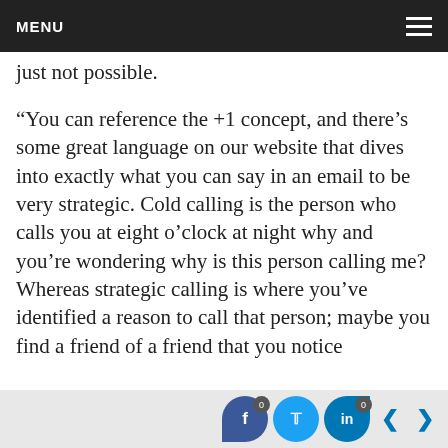MENU
just not possible.
“You can reference the +1 concept, and there’s some great language on our website that dives into exactly what you can say in an email to be very strategic. Cold calling is the person who calls you at eight o’clock at night why and you’re wondering why is this person calling me? Whereas strategic calling is where you’ve identified a reason to call that person; maybe you find a friend of a friend that you notice